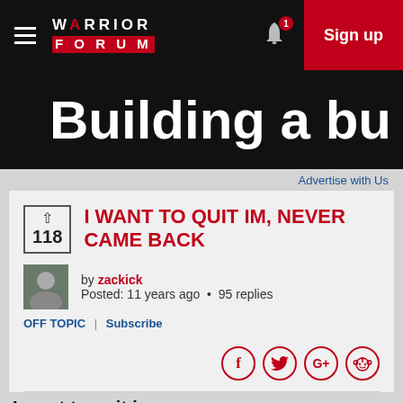WARRIOR FORUM — Sign up
[Figure (screenshot): Warrior Forum logo and navigation bar with hamburger menu, bell notification icon with badge '1', and red Sign up button]
[Figure (screenshot): Black banner with large white bold text 'Building a bu' (partially cropped)]
Advertise with Us
I WANT TO QUIT IM, NEVER CAME BACK
by zackick
Posted: 11 years ago • 95 replies
OFF TOPIC | Subscribe
Social share icons: Facebook, Twitter, Google+, Reddit